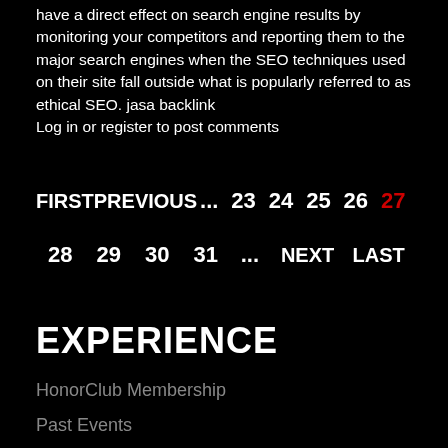have a direct effect on search engine results by monitoring your competitors and reporting them to the major search engines when the SEO techniques used on their site fall outside what is popularly referred to as ethical SEO. jasa backlink
Log in or register to post comments
FIRST  PREVIOUS  ...  23  24  25  26  27  28  29  30  31  ...  NEXT  LAST
EXPERIENCE
HonorClub Membership
Past Events